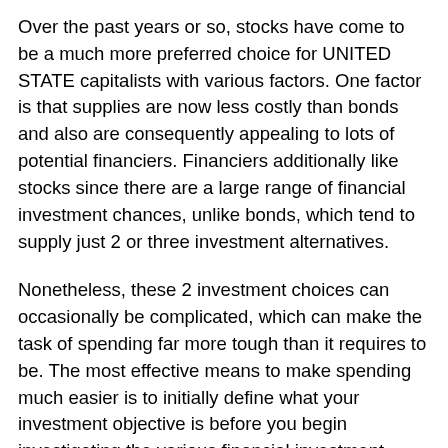Over the past years or so, stocks have come to be a much more preferred choice for UNITED STATE capitalists with various factors. One factor is that supplies are now less costly than bonds and also are consequently appealing to lots of potential financiers. Financiers additionally like stocks since there are a large range of financial investment chances, unlike bonds, which tend to supply just 2 or three investment alternatives.
Nonetheless, these 2 investment choices can occasionally be complicated, which can make the task of spending far more tough than it requires to be. The most effective means to make spending much easier is to initially define what your investment objective is before you begin investigating the various financial investment opportunities. Here are some usual investing goals that several individuals